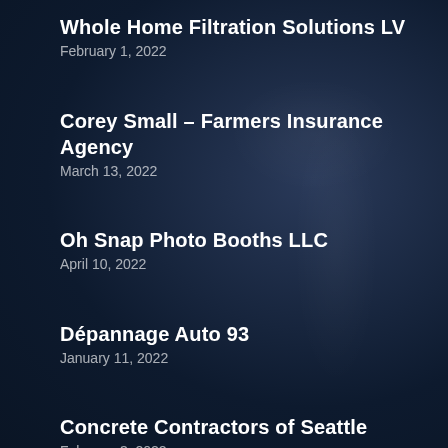Whole Home Filtration Solutions LV
February 1, 2022
Corey Small – Farmers Insurance Agency
March 13, 2022
Oh Snap Photo Booths LLC
April 10, 2022
Dépannage Auto 93
January 11, 2022
Concrete Contractors of Seattle
February 3, 2022
MR ÉMONDEUR Saint-Jean-sur-Richelieu